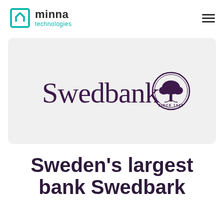minna technologies
[Figure (logo): Swedbank logo — wordmark 'Swedbank' in dark purple serif font alongside a circular emblem with a tree and 'SINCE 1820' text, on a light grey background]
Sweden's largest bank Swedbank